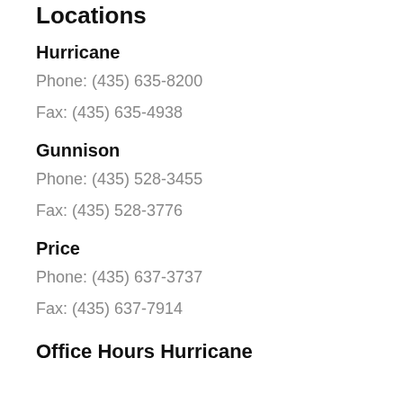Locations
Hurricane
Phone: (435) 635-8200
Fax: (435) 635-4938
Gunnison
Phone: (435) 528-3455
Fax: (435) 528-3776
Price
Phone: (435) 637-3737
Fax: (435) 637-7914
Office Hours Hurricane